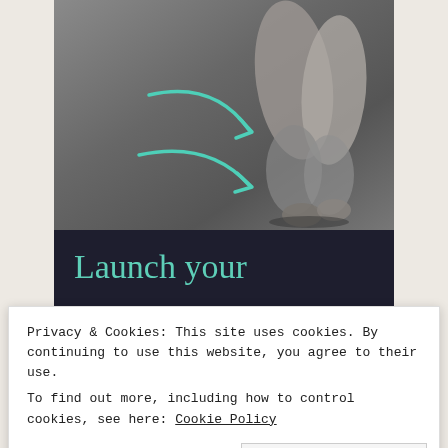[Figure (photo): Close-up photo of ballet pointe shoes on a dark grey background, with teal/mint colored curved arrows overlaid pointing to the right]
Launch your
Privacy & Cookies: This site uses cookies. By continuing to use this website, you agree to their use.
To find out more, including how to control cookies, see here: Cookie Policy
Close and accept